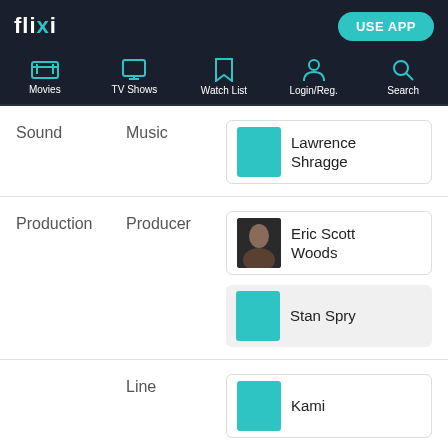flixi — USE APP
[Figure (screenshot): Navigation bar with icons: Movies, TV Shows, Watch List, Login/Reg., Search]
Sound | Music | Lawrence Shragge
Production | Producer | Eric Scott Woods
Production | Producer | Stan Spry
Line | Kami
CONTINUE WITH
FLIXI APP — OPEN APP
CHROME — CONTINUE